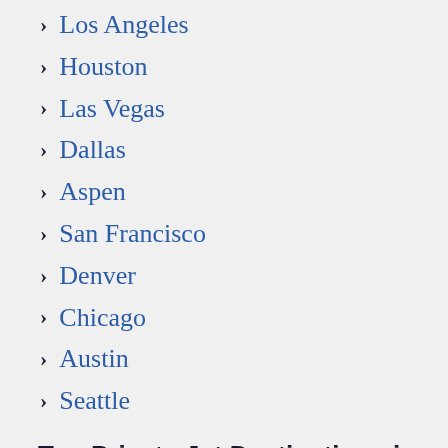Los Angeles
Houston
Las Vegas
Dallas
Aspen
San Francisco
Denver
Chicago
Austin
Seattle
Top Private Jet Destinations in Europe
London
Paris